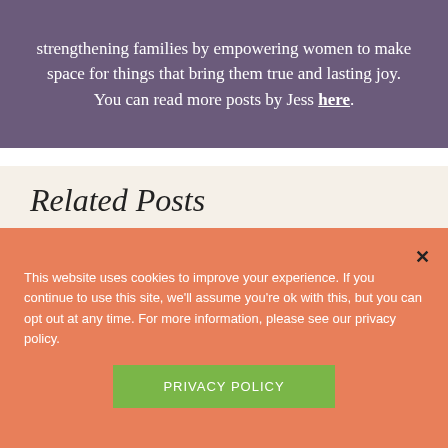strengthening families by empowering women to make space for things that bring them true and lasting joy. You can read more posts by Jess here.
Related Posts
[Figure (photo): Outdoor landscape photo showing tall evergreen trees on the left against a bright blue sky with white clouds and distant mountains.]
This website uses cookies to improve your experience. If you continue to use this site, we'll assume you're ok with this, but you can opt out at any time. For more information, please see our privacy policy.
PRIVACY POLICY